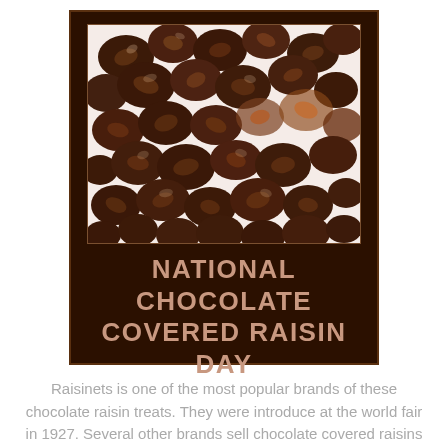[Figure (photo): Dark brown poster with a photo of chocolate covered raisins on a white background, with text 'NATIONAL CHOCOLATE COVERED RAISIN DAY' in pinkish-brown serif letters on dark brown background.]
Raisinets is one of the most popular brands of these chocolate raisin treats. They were introduce at the world fair in 1927. Several other brands sell chocolate covered raisins as well but it is Raisenetts that seem to stand out.